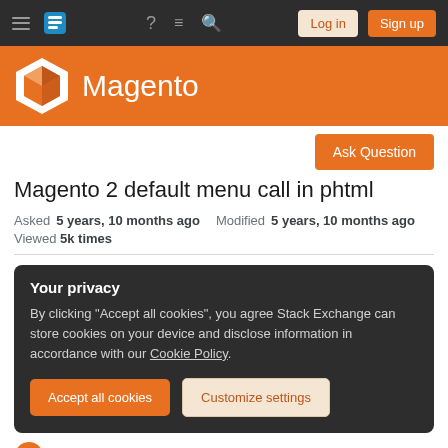Stack Exchange navigation bar with Log in and Sign up buttons
[Figure (logo): Magento Stack Exchange orange brand bar with Magento logo and wordmark]
Ask Question
Magento 2 default menu call in phtml
Asked 5 years, 10 months ago   Modified 5 years, 10 months ago
Viewed 5k times
Your privacy
By clicking "Accept all cookies", you agree Stack Exchange can store cookies on your device and disclose information in accordance with our Cookie Policy.
Accept all cookies   Customize settings